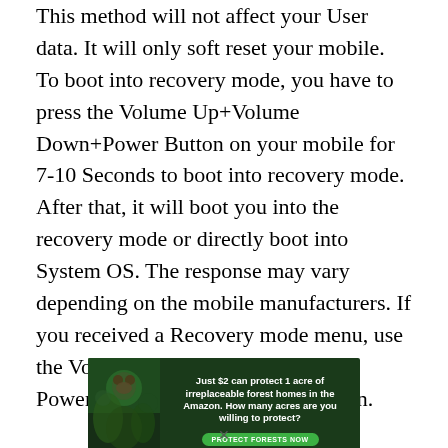This method will not affect your User data. It will only soft reset your mobile. To boot into recovery mode, you have to press the Volume Up+Volume Down+Power Button on your mobile for 7-10 Seconds to boot into recovery mode. After that, it will boot you into the recovery mode or directly boot into System OS. The response may vary depending on the mobile manufacturers. If you received a Recovery mode menu, use the Volume keys to navigate and the Power button to confirm the selection.
[Figure (infographic): Advertisement banner with dark green forest background. Text reads: 'Just $2 can protect 1 acre of irreplaceable forest homes in the Amazon. How many acres are you willing to protect?' with a green 'PROTECT FORESTS NOW' button. Left side shows an orangutan in forest imagery.]